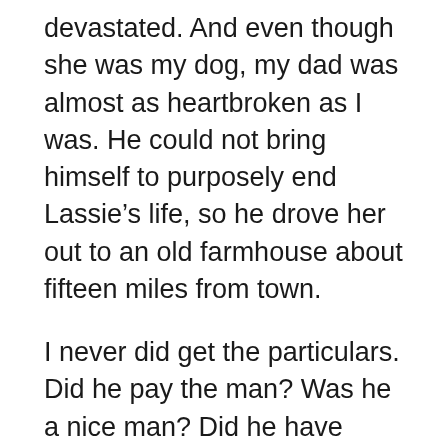devastated. And even though she was my dog, my dad was almost as heartbroken as I was. He could not bring himself to purposely end Lassie’s life, so he drove her out to an old farmhouse about fifteen miles from town.
I never did get the particulars. Did he pay the man? Was he a nice man? Did he have children? All I knew was that Dad had done the best he could.
Months later, Dad went by to check in on the old girl. “I’m sorry, Mr. Edwards,” the old farmer said. “Lassie ran away a few days after you left her here. We’ve never seen her since.”